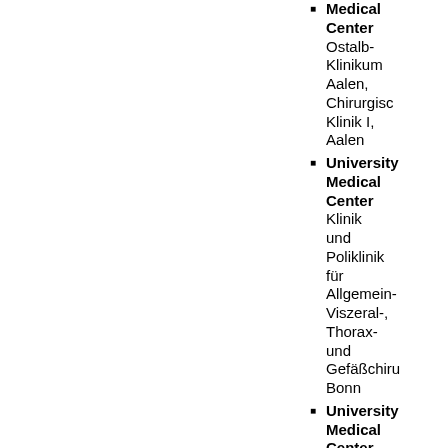Medical Center Ostalb-Klinikum Aalen, Chirurgische Klinik I, Aalen
University Medical Center Klinik und Poliklinik für Allgemein- Viszeral-, Thorax- und Gefäßchiru Bonn
University Medical Center Klinik und